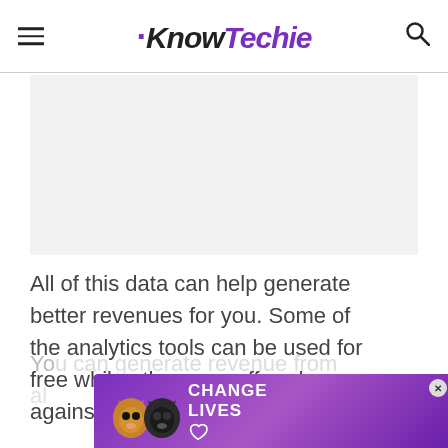KnowTechie
[Figure (other): Advertisement placeholder area (light gray rectangle)]
All of this data can help generate better revenues for you. Some of the analytics tools can be used for free while others are offered against a fee.
[Figure (photo): Advertisement banner at bottom: purple/violet background with cats and text CHANGE LIVES, with a close (X) button]